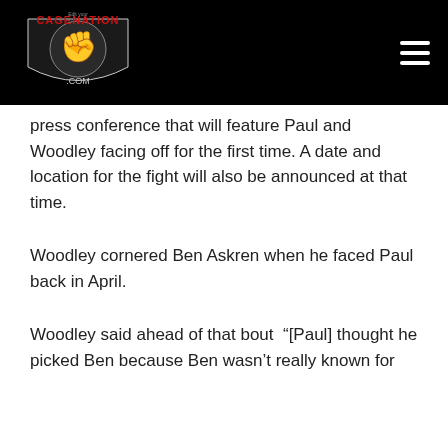[Figure (logo): CageNation.com logo with red fist and shield graphic on black background]
press conference that will feature Paul and Woodley facing off for the first time. A date and location for the fight will also be announced at that time.
Woodley cornered Ben Askren when he faced Paul back in April.
Woodley said ahead of that bout “[Paul] thought he picked Ben because Ben wasn’t really known for